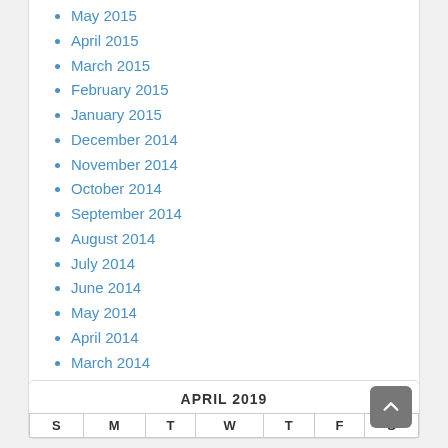May 2015
April 2015
March 2015
February 2015
January 2015
December 2014
November 2014
October 2014
September 2014
August 2014
July 2014
June 2014
May 2014
April 2014
March 2014
February 2014
January 2014
APRIL 2019
| S | M | T | W | T | F | S |
| --- | --- | --- | --- | --- | --- | --- |